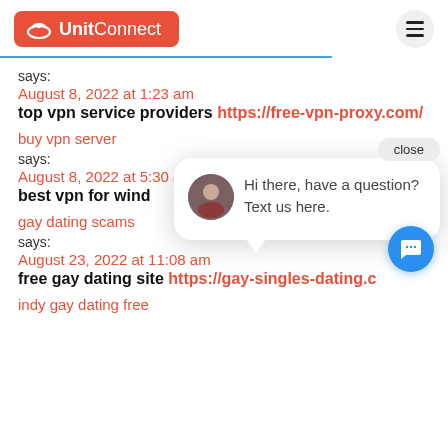UnitConnect
says:
August 8, 2022 at 1:23 am
top vpn service providers https://free-vpn-proxy.com/
buy vpn server
says:
August 8, 2022 at 5:30 am
best vpn for wind
gay dating scams
says:
August 23, 2022 at 11:08 am
free gay dating site https://gay-singles-dating.c
indy gay dating free
[Figure (other): Chat popup with avatar and message: Hi there, have a question? Text us here. With close button and blue chat button.]